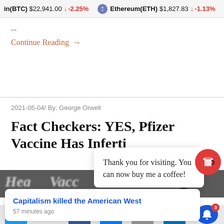in(BTC) $22,941.00 ↓ -2.25% Ethereum(ETH) $1,827.83 ↓ -1.13%
...
Continue Reading →
2021-05-04/ By: George Orwell
Fact Checkers: YES, Pfizer Vaccine Has Inferti
[Figure (screenshot): Popup overlay with text: Thank you for visiting. You can now buy me a coffee! with a red coffee cup button and X close button]
Capitalism killed the American West
57 minutes ago
[Figure (screenshot): Bottom share bar with Twitter, Facebook, Messenger, Email, LinkedIn icons and notification bell with badge 3]